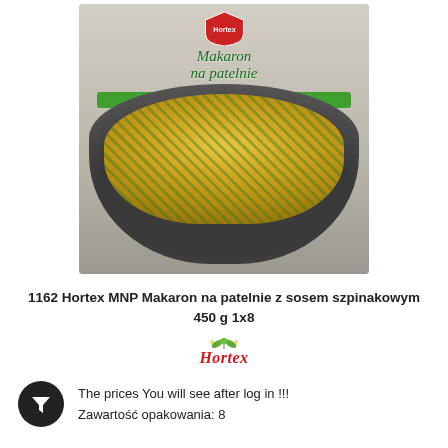[Figure (photo): Product package photo: Hortex 'Makaron na patelnie z sosem szpinakowym' — pasta in a frying pan with spinach sauce, shown on a food packaging bag with the Hortex logo at top.]
1162 Hortex MNP Makaron na patelnie z sosem szpinakowym 450 g 1x8
[Figure (logo): Hortex brand logo in green with decorative plant motif above the word Hortex in stylized red/green font]
The prices You will see after log in !!!
Zawartość opakowania: 8